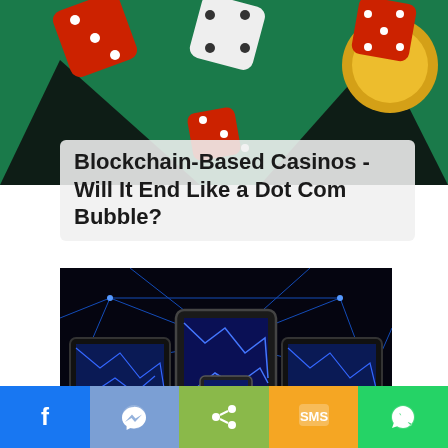[Figure (photo): Casino table with dice and playing card symbols on green felt background with coins and chips]
Blockchain-Based Casinos - Will It End Like a Dot Com Bubble?
[Figure (photo): Network of glowing blue light connections on dark background with tablets and smartphone devices]
[Figure (infographic): Social media sharing bar with Facebook, Messenger, Share, SMS, and WhatsApp buttons]